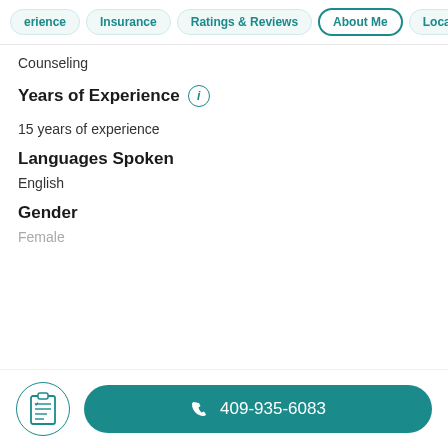erience | Insurance | Ratings & Reviews | About Me | Locations
Counseling
Years of Experience
15 years of experience
Languages Spoken
English
Gender
Female
409-935-6083